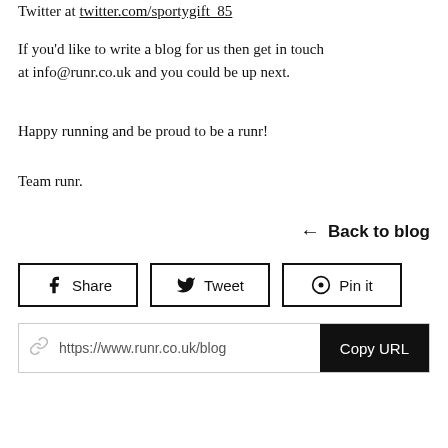Twitter at twitter.com/sportygift_85
If you'd like to write a blog for us then get in touch at info@runr.co.uk and you could be up next.
Happy running and be proud to be a runr!
Team runr.
← Back to blog
[Figure (screenshot): Social share buttons: Share (Facebook), Tweet (Twitter), Pin it (Pinterest), and a URL bar showing https://www.runr.co.uk/blog... with a Copy URL button]